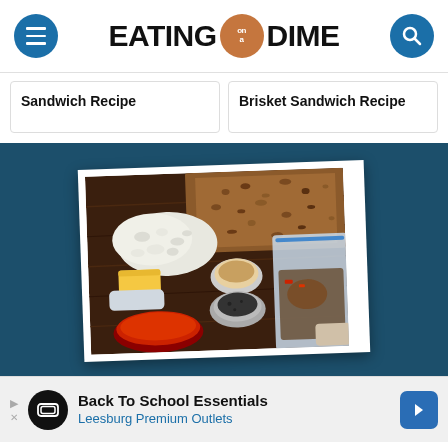EATING on a DIME
Sandwich Recipe
Brisket Sandwich Recipe
[Figure (photo): Overhead view of meal prep ingredients including chopped onions, spices in bowls, a block of cheese, sauce, and zip-lock bags on a dark wooden surface]
Back To School Essentials
Leesburg Premium Outlets